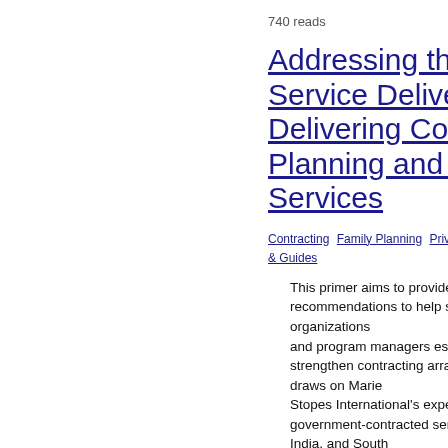740 reads
Addressing the Need: Lessons for Service Delivery Organizations Delivering Contracted-Out Family Planning and Reproductive Health Services
Contracting  Family Planning  Private Sector  Repro... & Guides
This primer aims to provide clear lessons and recommendations to help service delivery organizations and program managers establish, implement, and strengthen contracting arrangements. The primer draws on Marie Stopes International's experience of delivering government-contracted services in Bangladesh, India, and South Africa. [from summary]
837 reads
Performance Incentives in...